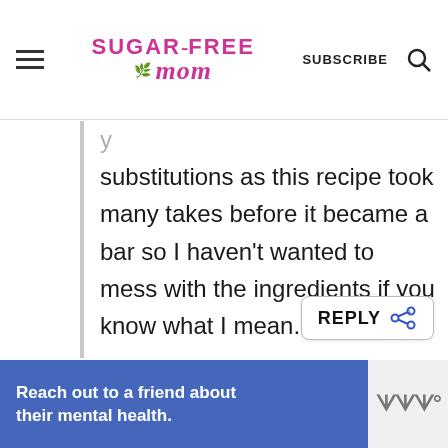Sugar-Free Mom — SUBSCRIBE
substitutions as this recipe took many takes before it became a bar so I haven't wanted to mess with the ingredients if you know what I mean.
REPLY
Reach out to a friend about their mental health.